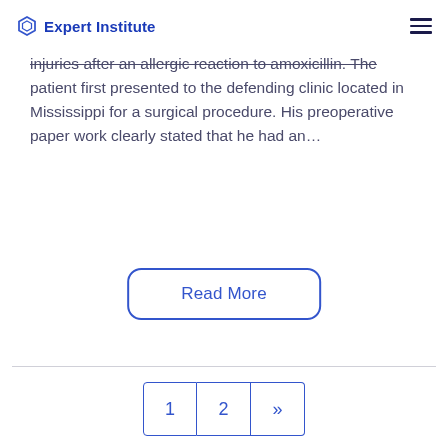Expert Institute
injuries after an allergic reaction to amoxicillin. The patient first presented to the defending clinic located in Mississippi for a surgical procedure. His preoperative paper work clearly stated that he had an…
Read More
1  2  »